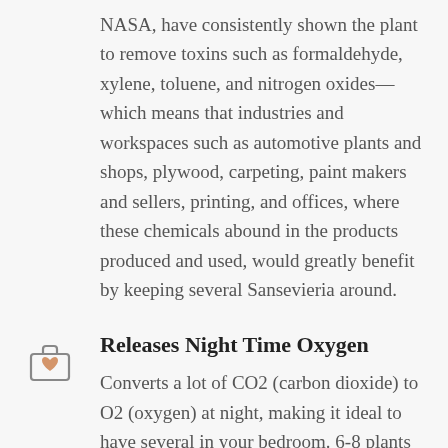NASA, have consistently shown the plant to remove toxins such as formaldehyde, xylene, toluene, and nitrogen oxides—which means that industries and workspaces such as automotive plants and shops, plywood, carpeting, paint makers and sellers, printing, and offices, where these chemicals abound in the products produced and used, would greatly benefit by keeping several Sansevieria around.
Releases Night Time Oxygen
Converts a lot of CO2 (carbon dioxide) to O2 (oxygen) at night, making it ideal to have several in your bedroom. 6-8 plants are needed per person to survive if there is no air flow (meaning